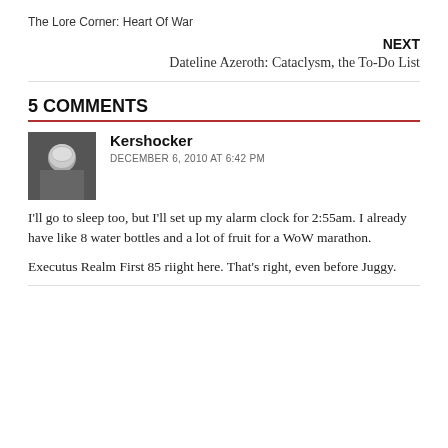The Lore Corner: Heart Of War
NEXT
Dateline Azeroth: Cataclysm, the To-Do List
5 COMMENTS
Kershocker
DECEMBER 6, 2010 AT 6:42 PM
I'll go to sleep too, but I'll set up my alarm clock for 2:55am. I already have like 8 water bottles and a lot of fruit for a WoW marathon.

Executus Realm First 85 riight here. That's right, even before Juggy.